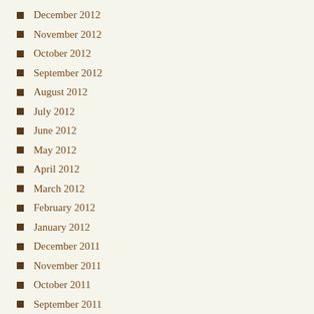December 2012
November 2012
October 2012
September 2012
August 2012
July 2012
June 2012
May 2012
April 2012
March 2012
February 2012
January 2012
December 2011
November 2011
October 2011
September 2011
August 2011